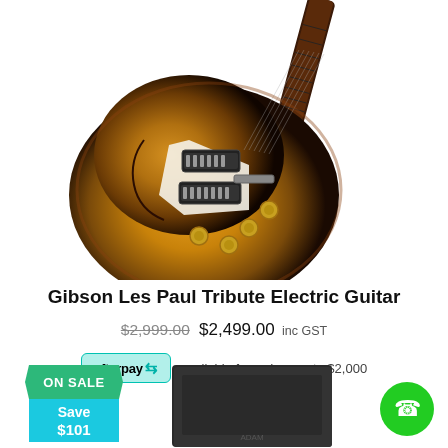[Figure (photo): Gibson Les Paul Tribute Electric Guitar in sunburst finish, angled view showing body and neck, against white background]
Gibson Les Paul Tribute Electric Guitar
$2,999.00 $2,499.00 inc GST
afterpay available for orders up to $2,000
[Figure (infographic): ON SALE badge with Save $101 text in teal/green colors]
[Figure (photo): Black bookshelf speaker / subwoofer product, partially visible at bottom of page]
[Figure (other): Green circular phone call button in bottom right corner]